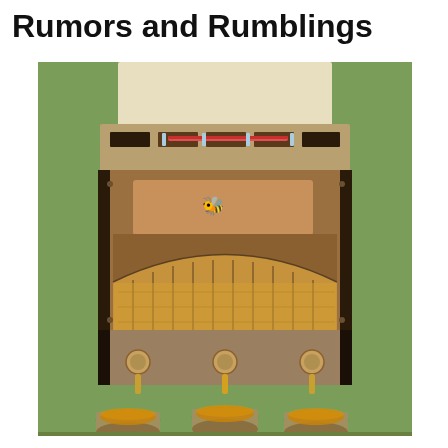Rumors and Rumblings
[Figure (photo): Close-up photograph of a Flow Hive beehive showing the front panel with honey flow frames visible through clear panels, a wooden access door with a decorative bee logo, and three mason jars below collecting honey. Green vegetation is visible in the background.]